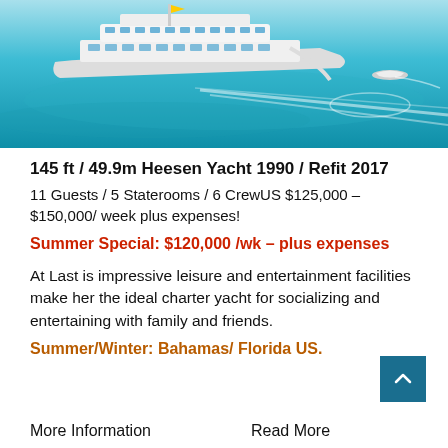[Figure (photo): Aerial view of a large white luxury motor yacht (Heesen) on turquoise water, with a water slide deployed and a small tender in the background creating a wake.]
145 ft / 49.9m Heesen Yacht 1990 / Refit 2017
11 Guests / 5 Staterooms / 6 CrewUS $125,000 – $150,000/ week plus expenses!
Summer Special: $120,000 /wk – plus expenses
At Last is impressive leisure and entertainment facilities make her the ideal charter yacht for socializing and entertaining with family and friends.
Summer/Winter: Bahamas/ Florida US.
More Information    Read More